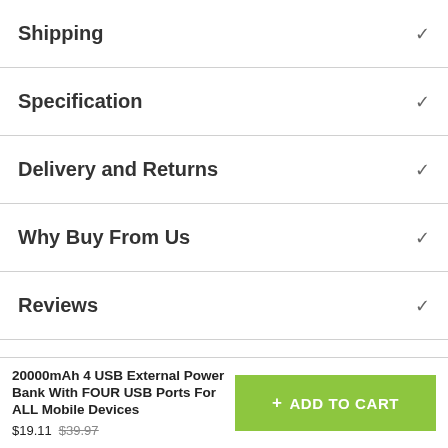Shipping
Specification
Delivery and Returns
Why Buy From Us
Reviews
20000mAh 4 USB External Power Bank With FOUR USB Ports For ALL Mobile Devices
$19.11 $39.97
+ ADD TO CART